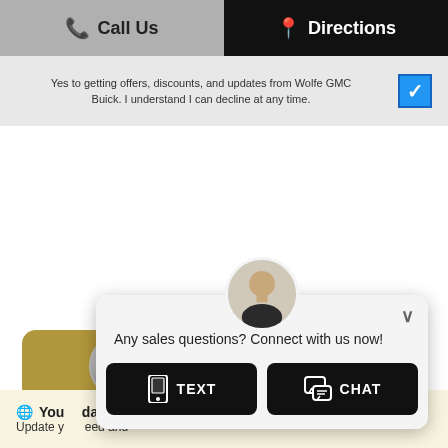Call Us  |  Directions
Yes to getting offers, discounts, and updates from Wolfe GMC Buick. I understand I can decline at any time.
[Figure (screenshot): Shop at Home button with Shop-Click Drive badge logo and gold rounded rectangle background]
[Figure (screenshot): Chat popup overlay with male avatar photo, message 'Any sales questions? Connect with us now!', TEXT and CHAT buttons]
You r... date. Update y... eed and